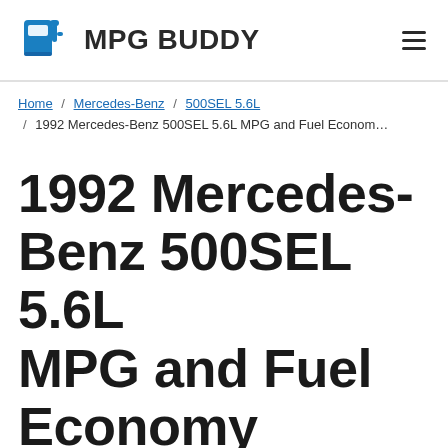MPG BUDDY
Home / Mercedes-Benz / 500SEL 5.6L / 1992 Mercedes-Benz 500SEL 5.6L MPG and Fuel Economy
1992 Mercedes-Benz 500SEL 5.6L MPG and Fuel Economy
On this page, you will find a